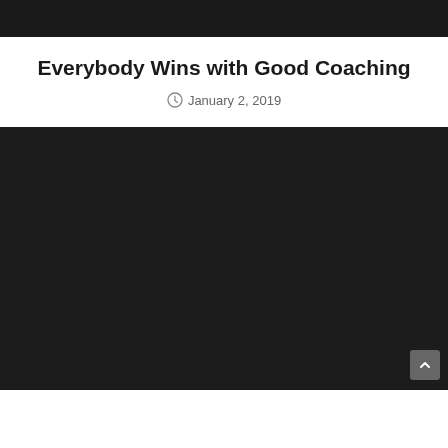[Figure (photo): Dark/black image area at top of page, appears to be a video thumbnail or header image]
Everybody Wins with Good Coaching
January 2, 2019
[Figure (photo): Large dark/black image area, appears to be an embedded video player with a scroll-to-top button in the bottom right corner]